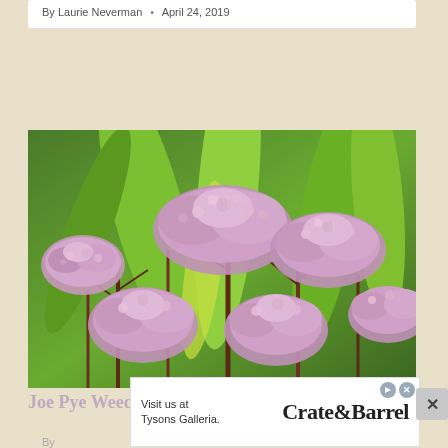By Laurie Neverman • April 24, 2019
[Figure (photo): Close-up photograph of Joe Pye Weed flowers in bloom — clusters of soft pink/mauve fluffy flower heads with dark reddish-brown stems, surrounded by large green tropical-looking leaves in the background.]
Joe Pye Weed – How to Grow and Use It
By ...
[Figure (other): Advertisement overlay: 'Visit us at Tysons Galleria.' Crate&Barrel with ad icons and a close/X button]